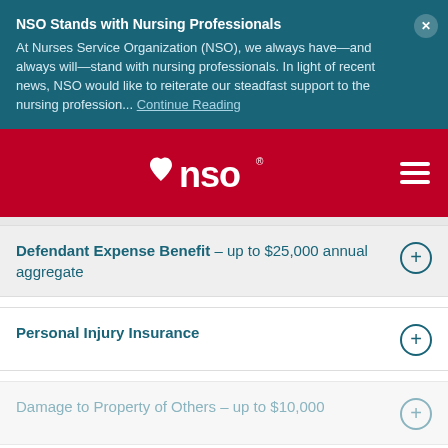NSO Stands with Nursing Professionals
At Nurses Service Organization (NSO), we always have—and always will—stand with nursing professionals. In light of recent news, NSO would like to reiterate our steadfast support to the nursing profession... Continue Reading
[Figure (logo): NSO logo on red background with hamburger menu icon]
Defendant Expense Benefit – up to $25,000 annual aggregate
Personal Injury Insurance
Damage to Property of Others – up to $10,000
Get a quick quote